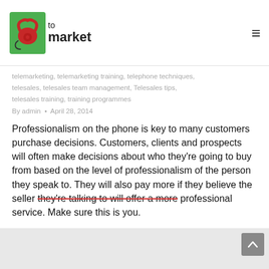to market
telemarketing, telemarketing training, telephone techniques, telesales, telesales team management, Telesales tips, telesales training, training programmes
By admin • April 28, 2014
Professionalism on the phone is key to many customers purchase decisions. Customers, clients and prospects will often make decisions about who they're going to buy from based on the level of professionalism of the person they speak to. They will also pay more if they believe the seller they're talking to will offer a more professional service. Make sure this is you.